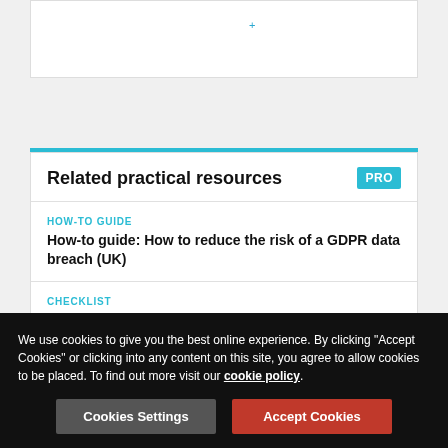Related practical resources
HOW-TO GUIDE
How-to guide: How to reduce the risk of a GDPR data breach (UK)
CHECKLIST
Checklist: Competition law compliance (UK)
HOW-TO GUIDE
How-to guide: How to draft and negotiate limitation of liability clauses (USA)
We use cookies to give you the best online experience. By clicking "Accept Cookies" or clicking into any content on this site, you agree to allow cookies to be placed. To find out more visit our cookie policy